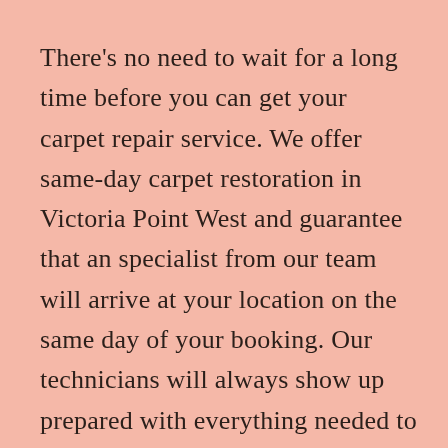There's no need to wait for a long time before you can get your carpet repair service. We offer same-day carpet restoration in Victoria Point West and guarantee that an specialist from our team will arrive at your location on the same day of your booking. Our technicians will always show up prepared with everything needed to inspect and revive your carpets.